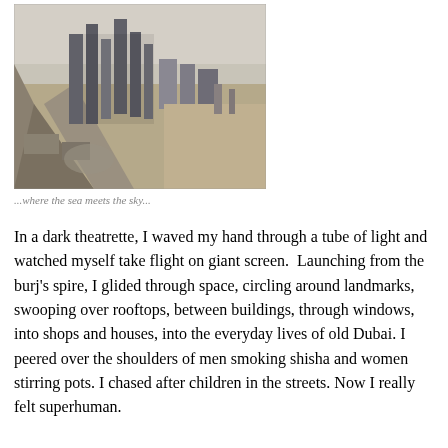[Figure (photo): Aerial photograph looking down at Dubai's skyline showing skyscrapers, roads, highways, and construction areas from a very high vantage point, likely from the Burj Khalifa.]
...where the sea meets the sky...
In a dark theatrette, I waved my hand through a tube of light and watched myself take flight on giant screen.  Launching from the burj's spire, I glided through space, circling around landmarks, swooping over rooftops, between buildings, through windows, into shops and houses, into the everyday lives of old Dubai. I peered over the shoulders of men smoking shisha and women stirring pots. I chased after children in the streets. Now I really felt superhuman.